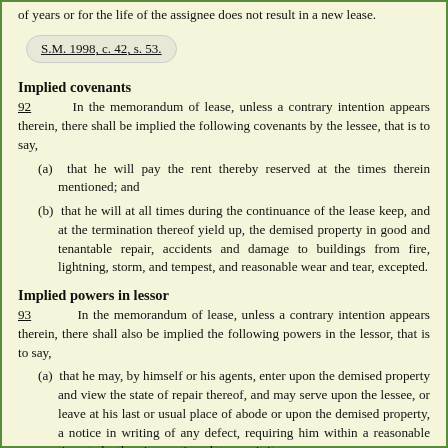of years or for the life of the assignee does not result in a new lease.
S.M. 1998, c. 42, s. 53.
Implied covenants
92   In the memorandum of lease, unless a contrary intention appears therein, there shall be implied the following covenants by the lessee, that is to say,
(a) that he will pay the rent thereby reserved at the times therein mentioned; and
(b) that he will at all times during the continuance of the lease keep, and at the termination thereof yield up, the demised property in good and tenantable repair, accidents and damage to buildings from fire, lightning, storm, and tempest, and reasonable wear and tear, excepted.
Implied powers in lessor
93   In the memorandum of lease, unless a contrary intention appears therein, there shall also be implied the following powers in the lessor, that is to say,
(a) that he may, by himself or his agents, enter upon the demised property and view the state of repair thereof, and may serve upon the lessee, or leave at his last or usual place of abode or upon the demised property, a notice in writing of any defect, requiring him within a reasonable time, to be therein mentioned, to repair it;
(b) that in case the rent or any part thereof is in arrear, or in case